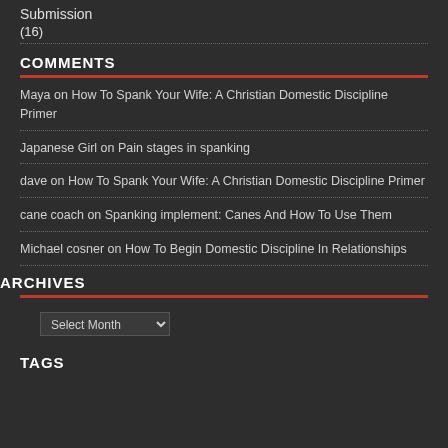Submission
(16)
COMMENTS
Maya on How To Spank Your Wife: A Christian Domestic Discipline Primer
Japanese Girl on Pain stages in spanking
dave on How To Spank Your Wife: A Christian Domestic Discipline Primer
cane coach on Spanking implement: Canes And How To Use Them
Michael cosner on How To Begin Domestic Discipline In Relationships
ARCHIVES
TAGS